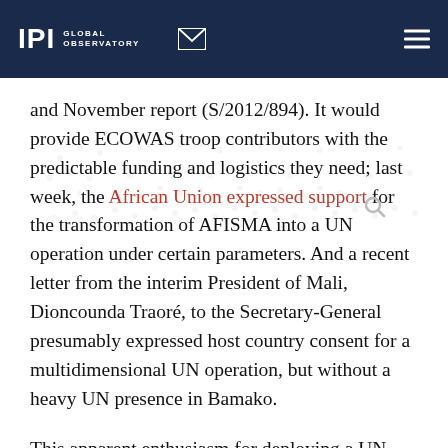IPI GLOBAL OBSERVATORY
and November report (S/2012/894). It would provide ECOWAS troop contributors with the predictable funding and logistics they need; last week, the African Union expressed support for the transformation of AFISMA into a UN operation under certain parameters. And a recent letter from the interim President of Mali, Dioncounda Traoré, to the Secretary-General presumably expressed host country consent for a multidimensional UN operation, but without a heavy UN presence in Bamako.
This apparent enthusiasm for deploying a UN peacekeeping mission in Mali is soon likely to be tempered by the challenges it will face on the ground. Limitations of the current UN peacekeeping model should not necessarily lead to inaction on the part of the